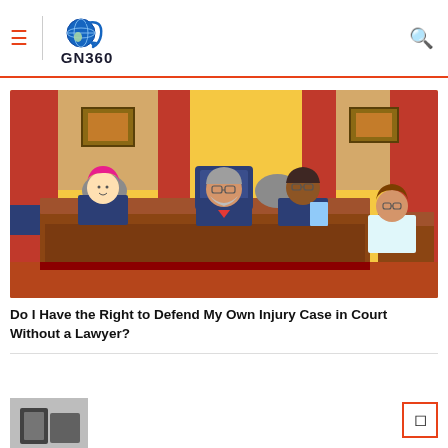GN360
[Figure (illustration): Cartoon courtroom illustration showing a judge and court officials seated at a long wooden bench, with a woman seated at a separate desk on the right. The background has yellow walls with red columns and framed pictures.]
Do I Have the Right to Defend My Own Injury Case in Court Without a Lawyer?
[Figure (photo): Partial bottom preview of another article image showing what appears to be a dark object, partially cropped.]